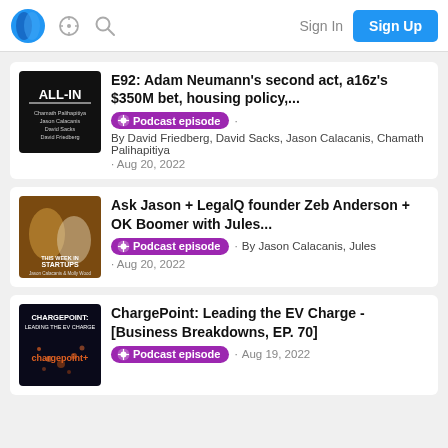Sign In | Sign Up
E92: Adam Neumann's second act, a16z's $350M bet, housing policy,... | Podcast episode | By David Friedberg, David Sacks, Jason Calacanis, Chamath Palihapitiya | Aug 20, 2022
Ask Jason + LegalQ founder Zeb Anderson + OK Boomer with Jules... | Podcast episode | By Jason Calacanis, Jules | Aug 20, 2022
ChargePoint: Leading the EV Charge - [Business Breakdowns, EP. 70] | Podcast episode | Aug 19, 2022